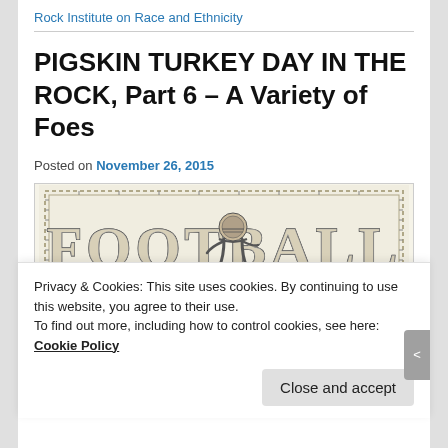Rock Institute on Race and Ethnicity
PIGSKIN TURKEY DAY IN THE ROCK, Part 6 – A Variety of Foes
Posted on November 26, 2015
[Figure (illustration): Vintage football illustration with the word FOOTBALL in large block letters and a football player figure in the center]
Privacy & Cookies: This site uses cookies. By continuing to use this website, you agree to their use.
To find out more, including how to control cookies, see here: Cookie Policy
Close and accept